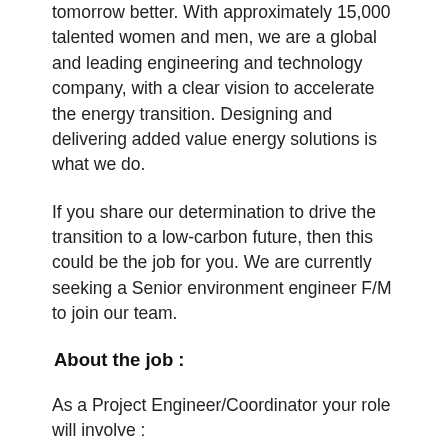tomorrow better. With approximately 15,000 talented women and men, we are a global and leading engineering and technology company, with a clear vision to accelerate the energy transition. Designing and delivering added value energy solutions is what we do.
If you share our determination to drive the transition to a low-carbon future, then this could be the job for you. We are currently seeking a Senior environment engineer F/M to join our team.
About the job :
As a Project Engineer/Coordinator your role will involve :